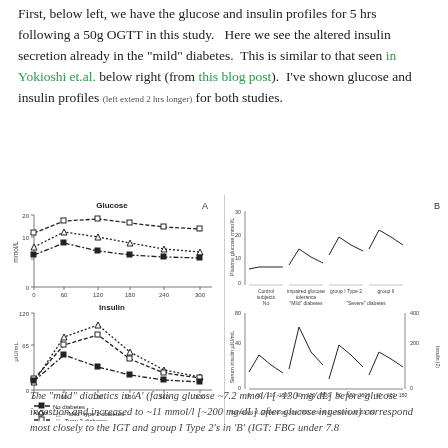First, below left, we have the glucose and insulin profiles for 5 hrs following a 50g OGTT in this study.   Here we see the altered insulin secretion already in the "mild" diabetes.  This is similar to that seen in Yokioshi et.al. below right (from this blog post).  I've shown glucose and insulin profiles (left extend 2 hrs longer) for both studies.
[Figure (continuous-plot): Left panel A: Two line charts stacked vertically. Top chart shows Glucose (mmol/L) over time 0-300 min for three groups: No diabetes (filled squares, dashed), 'Mild' type 2 diabetes (triangles, dotted), Type 2 diabetes (open squares, dashed). Bottom chart shows Insulin (µIU/mL) over time 0-300 min for the same three groups with legend. Source: Rizza, Diabetes November 2010 vol. 55 no. 13 2697-1797. Right panel B: Two line charts (plasma glucose mmol/L and serum insulin µIU/mL) for four groups across 0-180 min: Control subjects (No), impaired glucose tolerance ('Mild' diabetes), Type 2 group I, Type 2 group II ('Severe' diabetes). Source: Yoshioka et al., Diabetologia June 1988, Volume 31, Issue 6, pp 355-360.]
The "mild" diabetics in 'A' (fasting glucose ~7.2 mmol/l [~130 mg/dL] before glucose ingestion  and  increased  to  ~11  mmol/l [~200  mg/dL]  after  glucose  ingestion) correspond most closely to the IGT and group I Type 2's in 'B' (IGT:  FBG under 7.8